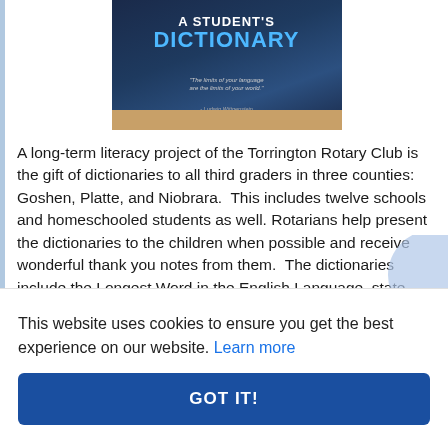[Figure (photo): Photo of a book titled 'A Student's Dictionary' with a dark blue cover featuring the quote 'The limits of your language are the limits of your world.' attributed to Ludwig Wittgenstein, resting on a wooden surface.]
A long-term literacy project of the Torrington Rotary Club is the gift of dictionaries to all third graders in three counties:  Goshen, Platte, and Niobrara.  This includes twelve schools and homeschooled students as well.  Rotarians help present the dictionaries to the children when possible and receive wonderful thank you notes from them.  The dictionaries include the Longest Word in the English Language, state facts, presidents, and even a mini-atlas.  These are always a hit with the children.
This website uses cookies to ensure you get the best experience on our website. Learn more